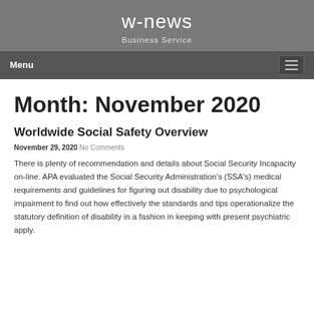w-news
Business Service
Month: November 2020
Worldwide Social Safety Overview
November 29, 2020  No Comments
There is plenty of recommendation and details about Social Security Incapacity on-line. APA evaluated the Social Security Administration's (SSA's) medical requirements and guidelines for figuring out disability due to psychological impairment to find out how effectively the standards and tips operationalize the statutory definition of disability in a fashion in keeping with present psychiatric apply.